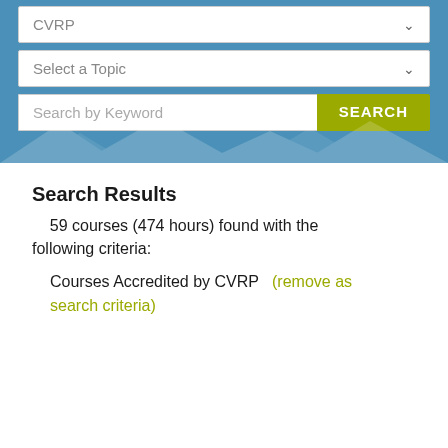[Figure (screenshot): UI search panel with blue background containing two dropdown selectors (CVRP, Select a Topic) and a keyword search bar with a yellow-green SEARCH button]
Search Results
59 courses (474 hours) found with the following criteria:
Courses Accredited by CVRP    (remove as search criteria)